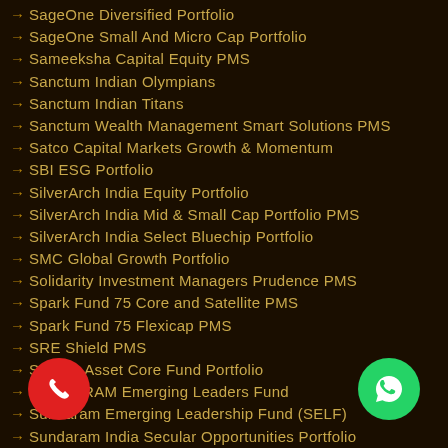SageOne Diversified Portfolio
SageOne Small And Micro Cap Portfolio
Sameeksha Capital Equity PMS
Sanctum Indian Olympians
Sanctum Indian Titans
Sanctum Wealth Management Smart Solutions PMS
Satco Capital Markets Growth & Momentum
SBI ESG Portfolio
SilverArch India Equity Portfolio
SilverArch India Mid & Small Cap Portfolio PMS
SilverArch India Select Bluechip Portfolio
SMC Global Growth Portfolio
Solidarity Investment Managers Prudence PMS
Spark Fund 75 Core and Satellite PMS
Spark Fund 75 Flexicap PMS
SRE Shield PMS
Stallion Asset Core Fund Portfolio
SUNDARAM Emerging Leaders Fund
Sundaram Emerging Leadership Fund (SELF)
Sundaram India Secular Opportunities Portfolio (SISOP)